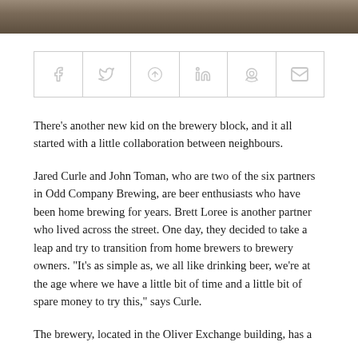[Figure (photo): Bottom portion of a photo, showing a dark earthy/ground scene, cropped at the top of the page]
[Figure (infographic): Social sharing bar with 6 icons: Facebook (f), Twitter (bird), Pinterest (p), LinkedIn (in), Reddit (alien), Email (envelope)]
There’s another new kid on the brewery block, and it all started with a little collaboration between neighbours.
Jared Curle and John Toman, who are two of the six partners in Odd Company Brewing, are beer enthusiasts who have been home brewing for years. Brett Loree is another partner who lived across the street. One day, they decided to take a leap and try to transition from home brewers to brewery owners. “It’s as simple as, we all like drinking beer, we’re at the age where we have a little bit of time and a little bit of spare money to try this,” says Curle.
The brewery, located in the Oliver Exchange building, has a